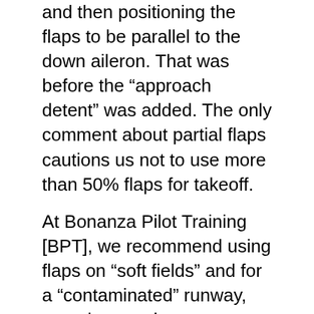and then positioning the flaps to be parallel to the down aileron.  That was before the “approach detent” was added.  The only comment about partial flaps cautions us not to use more than 50% flaps for takeoff.
At Bonanza Pilot Training [BPT], we recommend using flaps on “soft fields” and for a “contaminated” runway, meaning rough, snow, debris or anything other than smooth runway. The technique also closely follows the Airman Certification Standards [ACS] task guidelines.
By using flaps at either 15 – 20 degrees or at the 15-degree approach flap detent – if you have it – will produce approximately a 21% decrease in takeoff roll, providing rotation occurs 6-7 knots sooner than the rotation speed shown on a flaps-up or zero POH chart.  If you do not rotate sooner, you gain nothing.  Considering that most